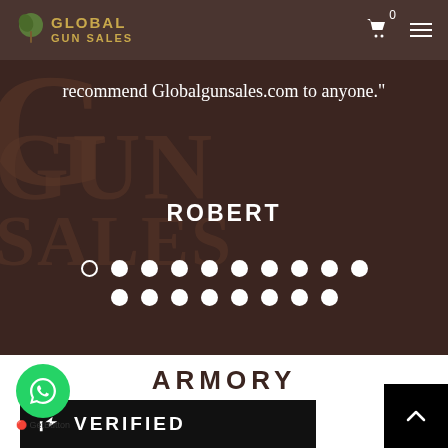GLOBAL GUN SALES
recommend Globalgunsales.com to anyone."
ROBERT
[Figure (other): Slider pagination dots — one empty circle followed by 17 filled white circles arranged in two rows]
ARMORY
[Figure (other): Decorative horizontal divider with a small circle in the center]
[Figure (other): Black verified badge bar with thumbs-up icon and VERIFIED text]
[Figure (other): Green WhatsApp GetButton floating action button]
[Figure (other): Black back-to-top button with upward arrow chevron]